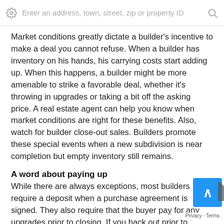Enter an address, town, street, zip or property ID
Market conditions greatly dictate a builder's incentive to make a deal you cannot refuse. When a builder has inventory on his hands, his carrying costs start adding up. When this happens, a builder might be more amenable to strike a favorable deal, whether it's throwing in upgrades or taking a bit off the asking price. A real estate agent can help you know when market conditions are right for these benefits. Also, watch for builder close-out sales. Builders promote these special events when a new subdivision is near completion but empty inventory still remains.
A word about paying up
While there are always exceptions, most builders require a deposit when a purchase agreement is signed. They also require that the buyer pay for any upgrades prior to closing. If you back out prior to closing, unless the agreement states otherwise, you will lose that money. Make sure you understand every detail in the builder's contract before signing it.